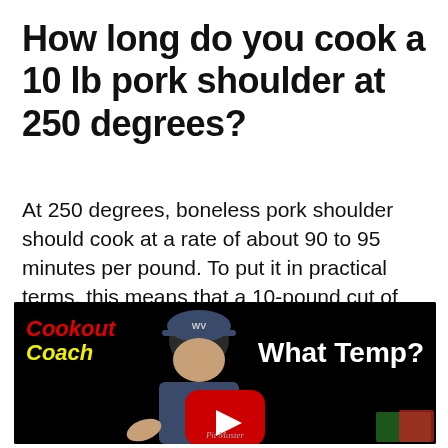How long do you cook a 10 lb pork shoulder at 250 degrees?
At 250 degrees, boneless pork shoulder should cook at a rate of about 90 to 95 minutes per pound. To put it in practical terms, this means that a 10-pound cut of pork shoulder will be done in around 15 to 16 hours.
[Figure (screenshot): YouTube video thumbnail for 'Cookout Coach' channel showing a man in a blue cap and shirt against a black background, with red 'Cookout Coach' logo top-left, 'What Temp?' in white text top-right, a red YouTube play button in the center-bottom, and 'Pit Master' text at the bottom.]